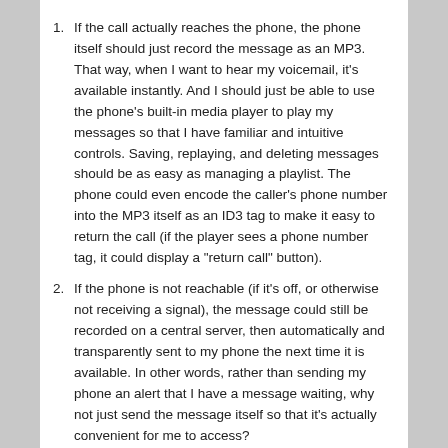If the call actually reaches the phone, the phone itself should just record the message as an MP3. That way, when I want to hear my voicemail, it's available instantly. And I should just be able to use the phone's built-in media player to play my messages so that I have familiar and intuitive controls. Saving, replaying, and deleting messages should be as easy as managing a playlist. The phone could even encode the caller's phone number into the MP3 itself as an ID3 tag to make it easy to return the call (if the player sees a phone number tag, it could display a "return call" button).
If the phone is not reachable (if it's off, or otherwise not receiving a signal), the message could still be recorded on a central server, then automatically and transparently sent to my phone the next time it is available. In other words, rather than sending my phone an alert that I have a message waiting, why not just send the message itself so that it's actually convenient for me to access?